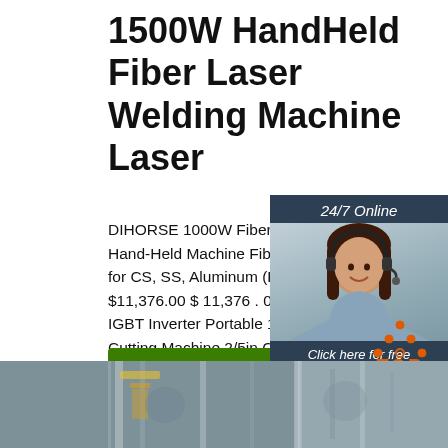1500W HandHeld Fiber Laser Welding Machine Laser
DIHORSE 1000W Fiber Laser Welding Machine Hand-Held Machine Fiber Metal Welding for CS, SS, Aluminum (Raycus, 1000W) $11,376.00 $ 11,376 . 00 Reboot Plasma IGBT Inverter Portable 110V CUT40 Air Cutting Machine 2/5in Clean Cut High Frequency Inverter Duty Cycle for Stainless Mild Steel Copper Iron
[Figure (other): Chat widget showing woman with headset, 24/7 Online header, Click here for free chat, and QUOTATION button]
[Figure (other): Get Price green button]
[Figure (other): TOP navigation button with dots icon in orange/red]
[Figure (photo): Bottom strip showing industrial laser welding machine equipment]